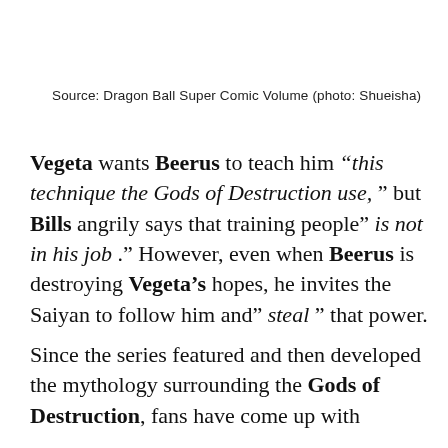Source: Dragon Ball Super Comic Volume (photo: Shueisha)
Vegeta wants Beerus to teach him “this technique the Gods of Destruction use,” but Bills angrily says that training people” is not in his job .” However, even when Beerus is destroying Vegeta’s hopes, he invites the Saiyan to follow him and” steal ” that power.
Since the series featured and then developed the mythology surrounding the Gods of Destruction, fans have come up with